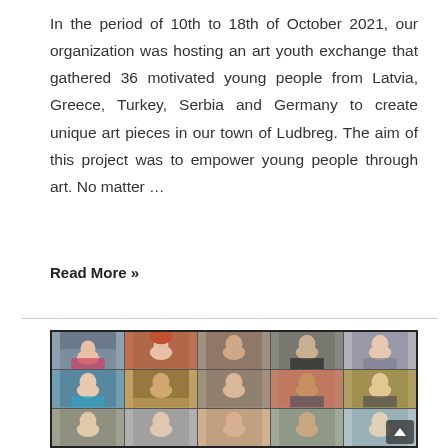In the period of 10th to 18th of October 2021, our organization was hosting an art youth exchange that gathered 36 motivated young people from Latvia, Greece, Turkey, Serbia and Germany to create unique art pieces in our town of Ludbreg. The aim of this project was to empower young people through art. No matter ...
Read More »
[Figure (photo): Video call screenshot showing a 5x3 grid of participants waving at camera in an online meeting. Multiple people visible with various backgrounds.]